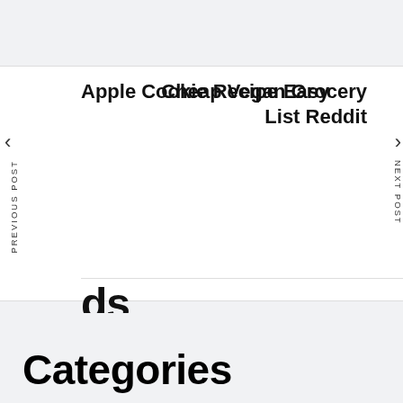< PREVIOUS POST
Apple Cookie Recipe Easy
Cheap Vegan Grocery List Reddit
NEXT POST >
ds
Categories